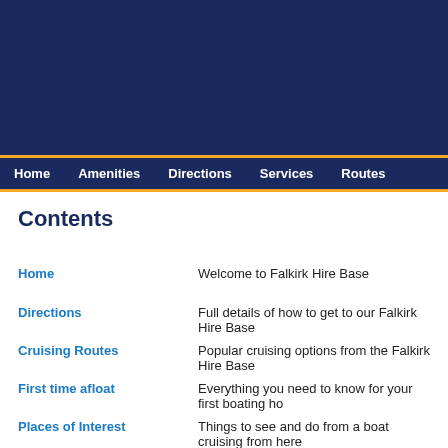Home | Amenities | Directions | Services | Routes
Contents
| Link | Description |
| --- | --- |
| Home | Welcome to Falkirk Hire Base |
| Directions | Full details of how to get to our Falkirk Hire Base |
| Cruising Routes | Popular cruising options from the Falkirk Hire Base |
| First time afloat | Everything you need to know for your first boating ho |
| Places of Interest | Things to see and do from a boat cruising from here |
| Amenities | All the on-site domestic facilities |
| Shop | Our onsite store and small chandlery |
| Car Parking | Rates, security and other issues |
| Moorings | Full information on our short and long term moorings |
| Boatyard Services | All the boatyard facilities available for hire etc. |